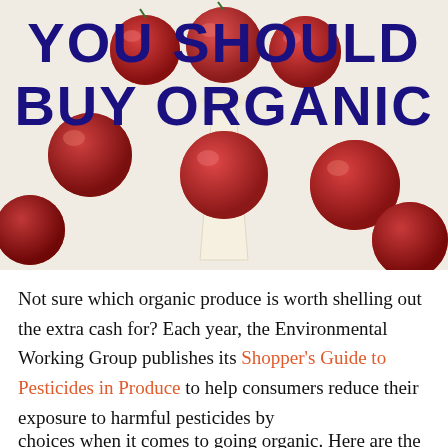[Figure (photo): Photo of red cherry tomatoes spilling from a white ceramic cone/cup on a light background, with large bold dark navy text overlay reading 'YOU SHOULD BUY ORGANIC']
Not sure which organic produce is worth shelling out the extra cash for? Each year, the Environmental Working Group publishes its Shopper's Guide to Pesticides in Produce to help consumers reduce their exposure to harmful pesticides by
choices when it comes to going organic. Here are the current